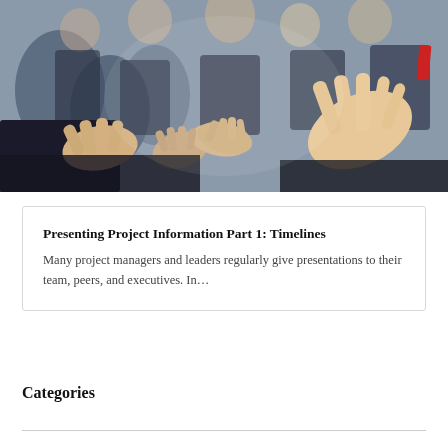[Figure (photo): Audience of business people in suits applauding/clapping at a conference or presentation event, shot in shallow depth of field with blurred background.]
Presenting Project Information Part 1: Timelines
Many project managers and leaders regularly give presentations to their team, peers, and executives. In…
Categories